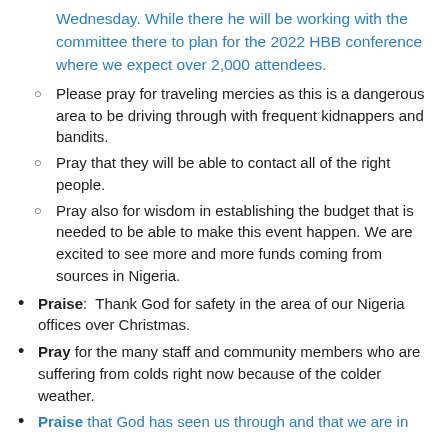Wednesday. While there he will be working with the committee there to plan for the 2022 HBB conference where we expect over 2,000 attendees.
Please pray for traveling mercies as this is a dangerous area to be driving through with frequent kidnappers and bandits.
Pray that they will be able to contact all of the right people.
Pray also for wisdom in establishing the budget that is needed to be able to make this event happen. We are excited to see more and more funds coming from sources in Nigeria.
Praise: Thank God for safety in the area of our Nigeria offices over Christmas.
Pray for the many staff and community members who are suffering from colds right now because of the colder weather.
Praise that God has seen us through and that we are in